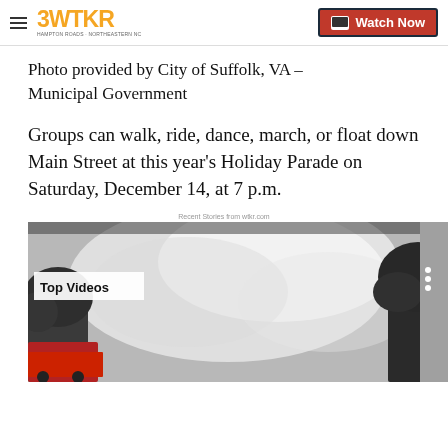3WTKR | Watch Now
Photo provided by City of Suffolk, VA – Municipal Government
Groups can walk, ride, dance, march, or float down Main Street at this year's Holiday Parade on Saturday, December 14, at 7 p.m.
[Figure (screenshot): Video player thumbnail showing a smoky outdoor scene with trees; labeled 'Top Videos']